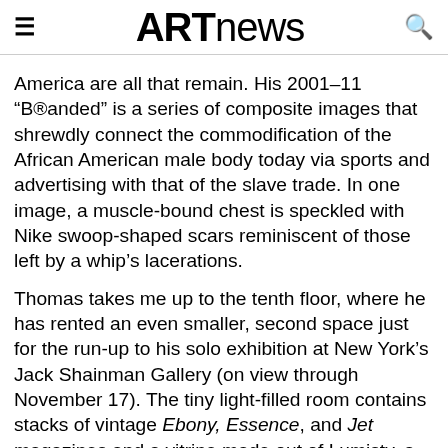ARTnews
America are all that remain. His 2001–11 “B®danded” is a series of composite images that shrewdly connect the commodification of the African American male body today via sports and advertising with that of the slave trade. In one image, a muscle-bound chest is speckled with Nike swoop-shaped scars reminiscent of those left by a whip’s lacerations.
Thomas takes me up to the tenth floor, where he has rented an even smaller, second space just for the run-up to his solo exhibition at New York’s Jack Shainman Gallery (on view through November 17). The tiny light-filled room contains stacks of vintage Ebony, Essence, and Jet magazines and a vitrine made out of Lumisty, a thick, foggy, Plexiglas-like material used in commercial displays. One assistant is busy executing a series of text paintings based on Civil